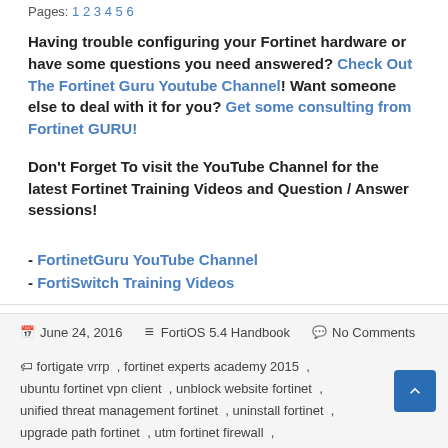Pages: 1 2 3 4 5 6
Having trouble configuring your Fortinet hardware or have some questions you need answered? Check Out The Fortinet Guru Youtube Channel! Want someone else to deal with it for you? Get some consulting from Fortinet GURU!
Don't Forget To visit the YouTube Channel for the latest Fortinet Training Videos and Question / Answer sessions!
- FortinetGuru YouTube Channel
- FortiSwitch Training Videos
June 24, 2016   FortiOS 5.4 Handbook   No Comments
fortigate vrrp , fortinet experts academy 2015 , ubuntu fortinet vpn client , unblock website fortinet , unified threat management fortinet , uninstall fortinet , upgrade path fortinet , utm fortinet firewall , utm security with fortinet mastering fortios , vdom fortinet ,